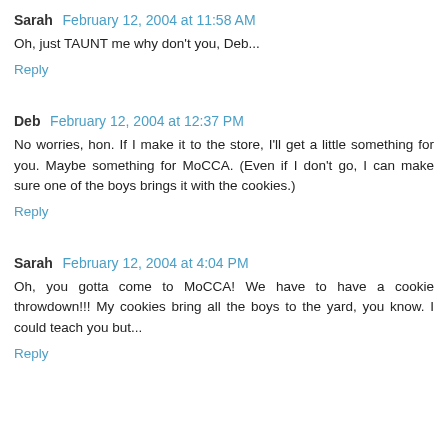Sarah  February 12, 2004 at 11:58 AM
Oh, just TAUNT me why don't you, Deb...
Reply
Deb  February 12, 2004 at 12:37 PM
No worries, hon. If I make it to the store, I'll get a little something for you. Maybe something for MoCCA. (Even if I don't go, I can make sure one of the boys brings it with the cookies.)
Reply
Sarah  February 12, 2004 at 4:04 PM
Oh, you gotta come to MoCCA! We have to have a cookie throwdown!!! My cookies bring all the boys to the yard, you know. I could teach you but...
Reply